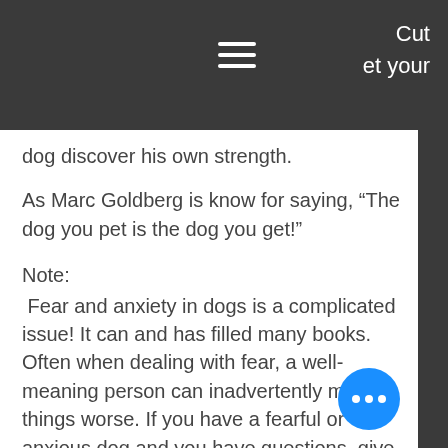Cut
et your dog discover his own strength.
As Marc Goldberg is know for saying, “The dog you pet is the dog you get!”
Note:
 Fear and anxiety in dogs is a complicated issue! It can and has filled many books. Often when dealing with fear, a well-meaning person can inadvertently make things worse. If you have a fearful or anxious dog and you have questions, give us a call or shoot us a quick email! We can help you get on the right track.